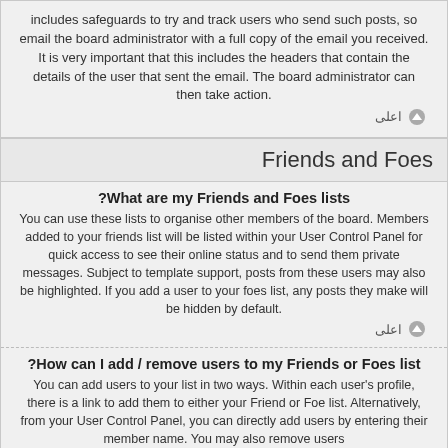includes safeguards to try and track users who send such posts, so email the board administrator with a full copy of the email you received. It is very important that this includes the headers that contain the details of the user that sent the email. The board administrator can then take action.
اعلى
Friends and Foes
?What are my Friends and Foes lists
You can use these lists to organise other members of the board. Members added to your friends list will be listed within your User Control Panel for quick access to see their online status and to send them private messages. Subject to template support, posts from these users may also be highlighted. If you add a user to your foes list, any posts they make will be hidden by default.
اعلى
?How can I add / remove users to my Friends or Foes list
You can add users to your list in two ways. Within each user's profile, there is a link to add them to either your Friend or Foe list. Alternatively, from your User Control Panel, you can directly add users by entering their member name. You may also remove users